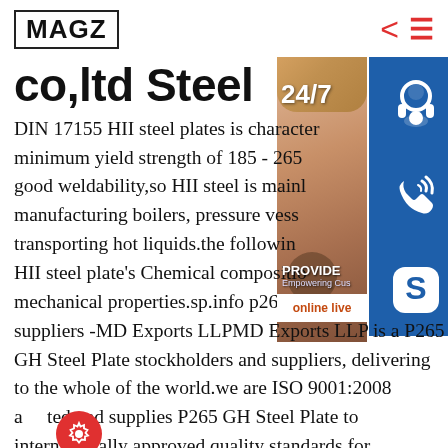MAGZ
co,ltd Steel
DIN 17155 HII steel plates is characterized minimum yield strength of 185 - 265 good weldability,so HII steel is mainly manufacturing boilers, pressure vessels transporting hot liquids.the following HII steel plate's Chemical composition mechanical properties.sp.info p265g suppliers -MD Exports LLPMD Exports LLP is a P265 GH Steel Plate stockholders and suppliers, delivering to the whole of the world.we are ISO 9001:2008 accredited and supplies P265 GH Steel Plate to internationally approved quality standards for
[Figure (photo): Customer service representative with headset overlay panel showing 24/7 service icons including headset, phone, and Skype buttons in blue, with PROVIDE Empowering Customers text and online live button]